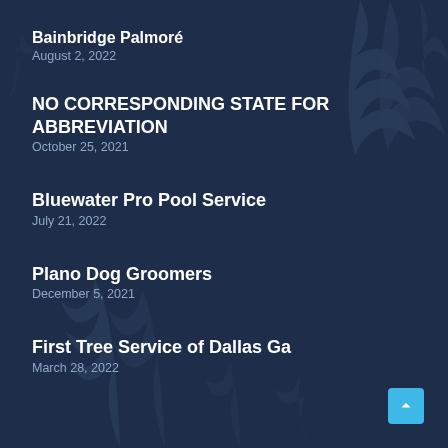Bainbridge Palmoré
August 2, 2022
NO CORRESPONDING STATE FOR ABBREVIATION
October 25, 2021
Bluewater Pro Pool Service
July 21, 2022
Plano Dog Groomers
December 5, 2021
First Tree Service of Dallas Ga
March 28, 2022